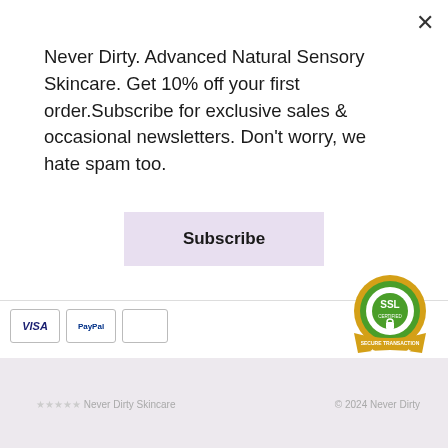Never Dirty. Advanced Natural Sensory Skincare. Get 10% off your first order.Subscribe for exclusive sales & occasional newsletters. Don't worry, we hate spam too.
Subscribe
[Figure (logo): Payment icons row: VISA, PayPal, and a third card icon]
[Figure (logo): SSL Certified Secure Transaction badge - green circular badge]
[Figure (logo): PCI DSS Compliant badge - teal colored PCI with checkmark and DSS COMPLIANT text]